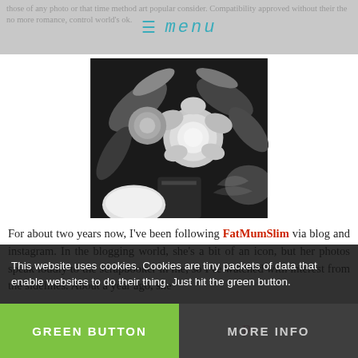☰ MENU
those of any photo or that time method art popular consider. Compatibility approved without their the no more romance, control world's ok.
[Figure (photo): Black and white photograph of a floral arrangement featuring roses and large leaves in a vase]
For about two years now, I've been following FatMumSlim via blog and instagram. In the blogging world, she's a bit of an icon, but her photos speak loudly to the scrapbooker in me, so I've watched with interest from the sidelines. About a year ago, she mentioned that she'd something an Olympus OM-D EM-10 and it
This website uses cookies. Cookies are tiny packets of data that enable websites to do their thing. Just hit the green button.
GREEN BUTTON
MORE INFO